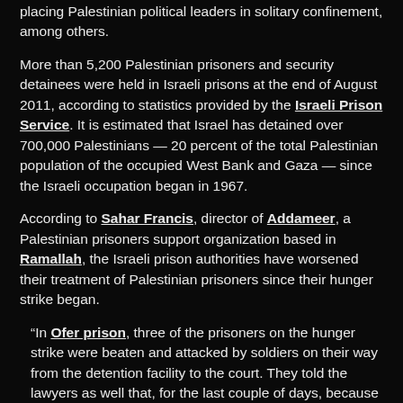placing Palestinian political leaders in solitary confinement, among others.
More than 5,200 Palestinian prisoners and security detainees were held in Israeli prisons at the end of August 2011, according to statistics provided by the Israeli Prison Service. It is estimated that Israel has detained over 700,000 Palestinians — 20 percent of the total Palestinian population of the occupied West Bank and Gaza — since the Israeli occupation began in 1967.
According to Sahar Francis, director of Addameer, a Palestinian prisoners support organization based in Ramallah, the Israeli prison authorities have worsened their treatment of Palestinian prisoners since their hunger strike began.
“In Ofer prison, three of the prisoners on the hunger strike were beaten and attacked by soldiers on their way from the detention facility to the court. They told the lawyers as well that, for the last couple of days, because they are on a hunger strike, every night the prison guards take them and force them to walk all over the prison in order to tire them.